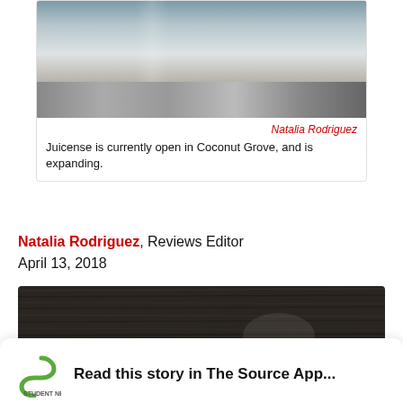[Figure (photo): Interior photo of Juicense location in Coconut Grove showing modern workspace with desk, white chair, wooden surfaces, and potted plants]
Natalia Rodriguez
Juicense is currently open in Coconut Grove, and is expanding.
Natalia Rodriguez, Reviews Editor
April 13, 2018
[Figure (photo): Dark wood grain texture photo]
Read this story in The Source App...
Open App   Continue in browser